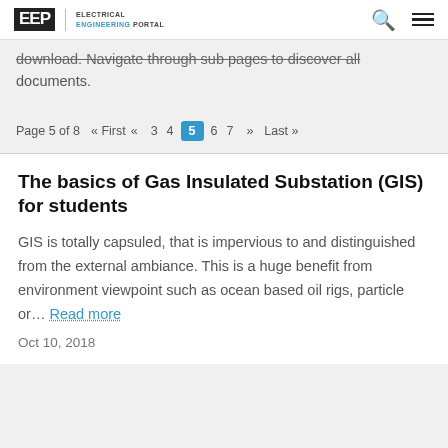EEP | ELECTRICAL ENGINEERING PORTAL
download. Navigate through sub pages to discover all documents.
Page 5 of 8  « First  «  3  4  5  6  7  »  Last »
The basics of Gas Insulated Substation (GIS) for students
GIS is totally capsuled, that is impervious to and distinguished from the external ambiance. This is a huge benefit from environment viewpoint such as ocean based oil rigs, particle or... Read more
Oct 10, 2018